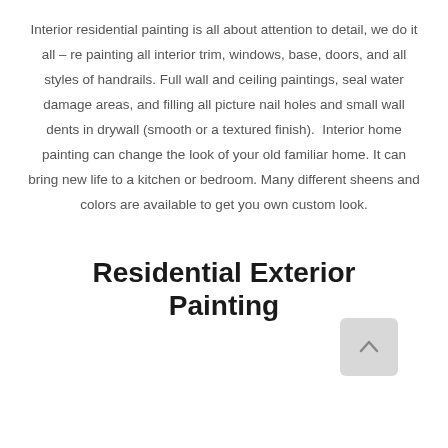Interior residential painting is all about attention to detail, we do it all – re painting all interior trim, windows, base, doors, and all styles of handrails. Full wall and ceiling paintings, seal water damage areas, and filling all picture nail holes and small wall dents in drywall (smooth or a textured finish).  Interior home painting can change the look of your old familiar home. It can bring new life to a kitchen or bedroom. Many different sheens and colors are available to get you own custom look.
Residential Exterior Painting